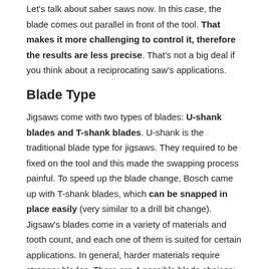Let's talk about saber saws now. In this case, the blade comes out parallel in front of the tool. That makes it more challenging to control it, therefore the results are less precise. That's not a big deal if you think about a reciprocating saw's applications.
Blade Type
Jigsaws come with two types of blades: U-shank blades and T-shank blades. U-shank is the traditional blade type for jigsaws. They required to be fixed on the tool and this made the swapping process painful. To speed up the blade change, Bosch came up with T-shank blades, which can be snapped in place easily (very similar to a drill bit change). Jigsaw's blades come in a variety of materials and tooth count, and each one of them is suited for certain applications. In general, harder materials require stronger blades. There are 4 possible blade choices:
HCS (High-carbon steel) blades for softer materials like wood;